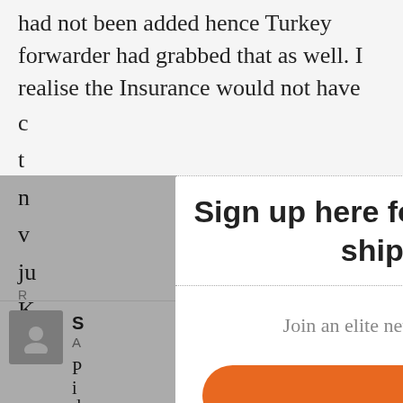had not been added hence Turkey forwarder had grabbed that as well. I realise the Insurance would not have
[Figure (screenshot): Modal popup overlay on a web page with newsletter sign-up. The modal contains a headline 'Sign up here for the latest news and trends in the shipping and freight industry', subtext 'Join an elite network of industry professionals and gain useful insights', an orange 'Sign me up' button, and a 'No thanks, not right now' link. An X close button is in the top-right corner.]
Join an elite network of industry professionals and gain useful insights
Sign me up
No thanks, not right now